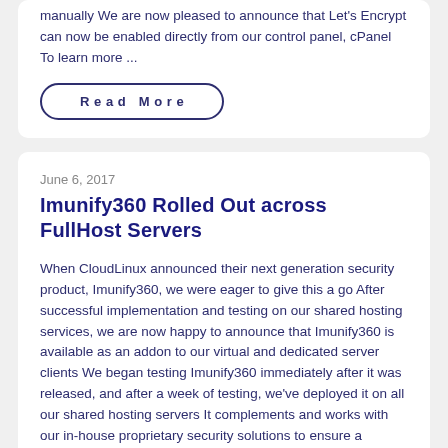manually We are now pleased to announce that Let's Encrypt can now be enabled directly from our control panel, cPanel To learn more ...
Read More
June 6, 2017
Imunify360 Rolled Out across FullHost Servers
When CloudLinux announced their next generation security product, Imunify360, we were eager to give this a go After successful implementation and testing on our shared hosting services, we are now happy to announce that Imunify360 is available as an addon to our virtual and dedicated server clients We began testing Imunify360 immediately after it was released, and after a week of testing, we've deployed it on all our shared hosting servers It complements and works with our in-house proprietary security solutions to ensure a controlled and secure hosting environment for all our clients ...
Read More